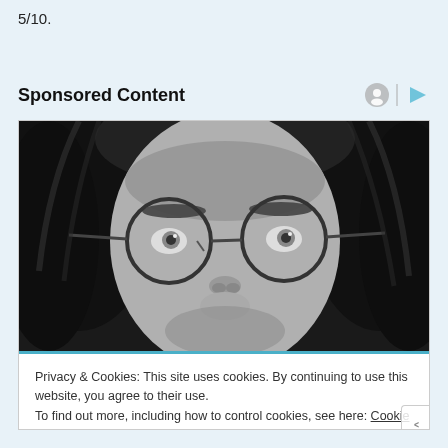5/10.
Sponsored Content
[Figure (photo): Black and white close-up portrait of a young man with long hair and round wire-frame glasses, looking slightly upward.]
Privacy & Cookies: This site uses cookies. By continuing to use this website, you agree to their use.
To find out more, including how to control cookies, see here: Cookie Policy
Close and accept